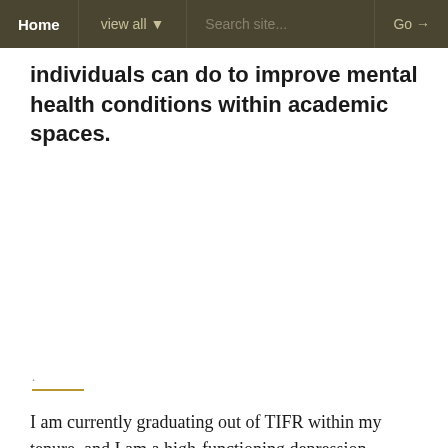Home | view all ▼ | Search site... | Go →
individuals can do to improve mental health conditions within academic spaces.
I am currently graduating out of TIFR within my tenure, and I am a high-functioning depression